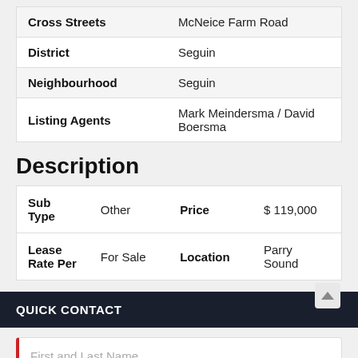| Field | Value |
| --- | --- |
| Cross Streets | McNeice Farm Road |
| District | Seguin |
| Neighbourhood | Seguin |
| Listing Agents | Mark Meindersma / David Boersma |
Description
| Field | Value | Field | Value |
| --- | --- | --- | --- |
| Sub Type | Other | Price | $ 119,000 |
| Lease Rate Per | For Sale | Location | Parry Sound |
QUICK CONTACT
First and Last Name
Phone number